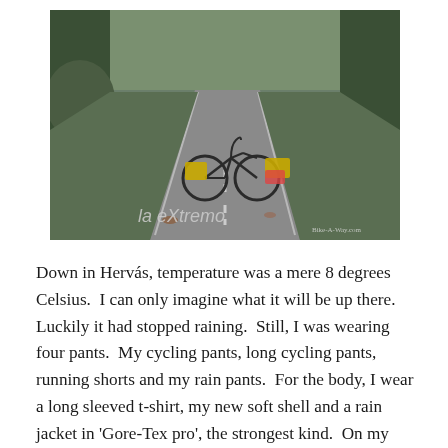[Figure (photo): A loaded touring bicycle lies on a road with 'la eXtremo' written on the asphalt in white chalk/paint. The road winds through an autumn forest. The bike has yellow panniers. A watermark reads 'Bike-A-Way.com'.]
Down in Hervás, temperature was a mere 8 degrees Celsius.  I can only imagine what it will be up there. Luckily it had stopped raining.  Still, I was wearing four pants.  My cycling pants, long cycling pants, running shorts and my rain pants.  For the body, I wear a long sleeved t-shirt, my new soft shell and a rain jacket in 'Gore-Tex pro', the strongest kind.  On my head a bandana and the hood of the